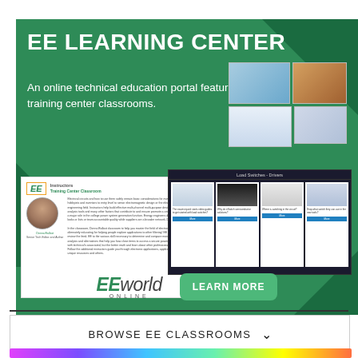[Figure (infographic): EE Learning Center advertisement banner with green background, title, subtitle text, screenshot mockups of instructor classroom and load switches drivers pages, EEworld Online logo and Learn More button]
BROWSE EE CLASSROOMS
[Figure (photo): Colorful bottom strip image partially visible at bottom of page]